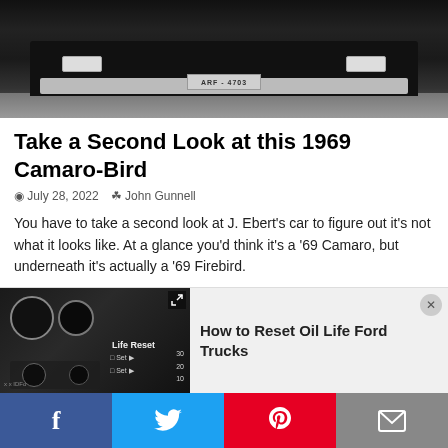[Figure (photo): Front view of a black 1969 Camaro/Firebird with license plate ARF-4703, cropped showing bumper and front end]
Take a Second Look at this 1969 Camaro-Bird
© July 28, 2022   & John Gunnell
You have to take a second look at J. Ebert's car to figure out it's not what it looks like. At a glance you'd think it's a '69 Camaro, but underneath it's actually a '69 Firebird.
1  2  3  ...  61  »
[Figure (screenshot): Video widget showing car dashboard/gauge cluster with 'How to Reset Oil Life Ford Trucks' title]
[Figure (other): Social share bar with Facebook, Twitter, Pinterest, and Email buttons]